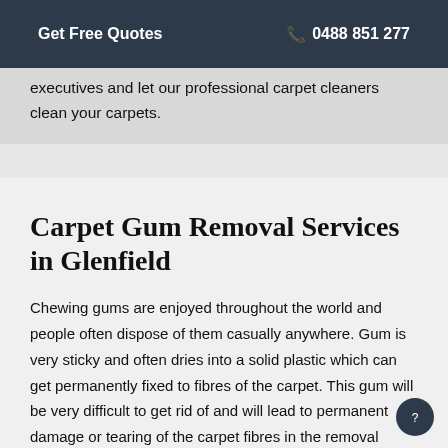Get Free Quotes   📞 0488 851 277
executives and let our professional carpet cleaners clean your carpets.
Carpet Gum Removal Services in Glenfield
Chewing gums are enjoyed throughout the world and people often dispose of them casually anywhere. Gum is very sticky and often dries into a solid plastic which can get permanently fixed to fibres of the carpet. This gum will be very difficult to get rid of and will lead to permanent damage or tearing of the carpet fibres in the removal